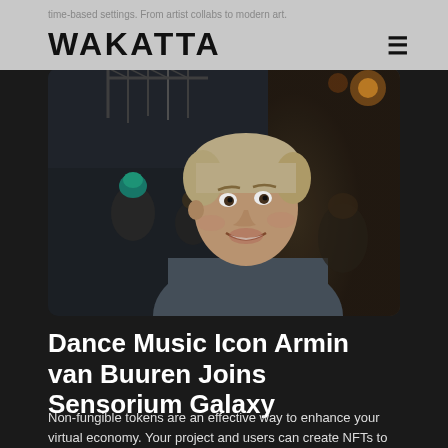time-based settings. From artist collabs to modern art.
[Figure (logo): WAKATTA logo in bold black uppercase letters on grey background]
[Figure (photo): Armin van Buuren smiling at an event venue with stage lights and crowd in background]
Dance Music Icon Armin van Buuren Joins Sensorium Galaxy
Non-fungible tokens are an effective way to enhance your virtual economy. Your project and users can create NFTs to store from digital assets...